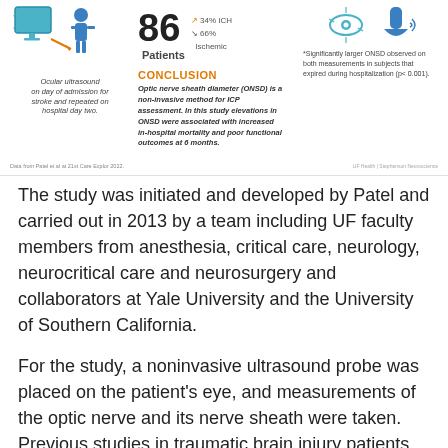[Figure (infographic): Medical infographic showing ocular ultrasound study with 86 patients (34% ICH, 66% Ischemic), conclusion about ONSD as non-invasive ICP method, and ultrasound probe icons indicating significantly larger ONSD in subjects that expired during hospitalization (p<0.001).]
The study was initiated and developed by Patel and carried out in 2013 by a team including UF faculty members from anesthesia, critical care, neurology, neurocritical care and neurosurgery and collaborators at Yale University and the University of Southern California.
For the study, a noninvasive ultrasound probe was placed on the patient's eye, and measurements of the optic nerve and its nerve sheath were taken. Previous studies in traumatic brain injury patients have demonstrated poor neurologic outcomes when the optic nerve sheath diameter is increased.